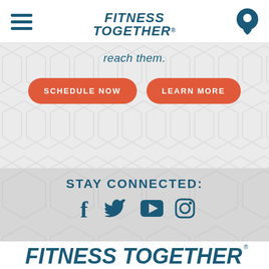FITNESS TOGETHER
reach them.
SCHEDULE NOW
LEARN MORE
STAY CONNECTED:
[Figure (logo): Social media icons: Facebook, Twitter, YouTube, Instagram in dark teal color]
[Figure (logo): FITNESS TOGETHER logo in dark teal italic bold font at the bottom of the page]